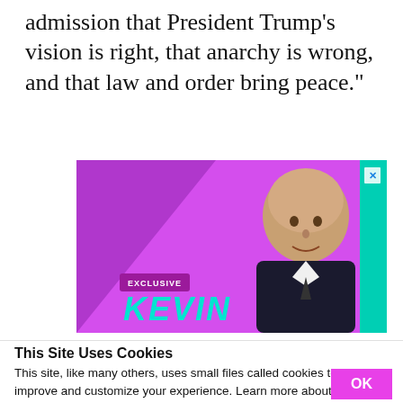admission that President Trump's vision is right, that anarchy is wrong, and that law and order bring peace."
[Figure (photo): Advertisement banner with magenta/purple background showing a bald man in a suit with 'EXCLUSIVE' tag and 'KEVIN' text in teal, with an X close button in the top right corner.]
This Site Uses Cookies
This site, like many others, uses small files called cookies to help us improve and customize your experience. Learn more about how we use cookies in our cookie policy.